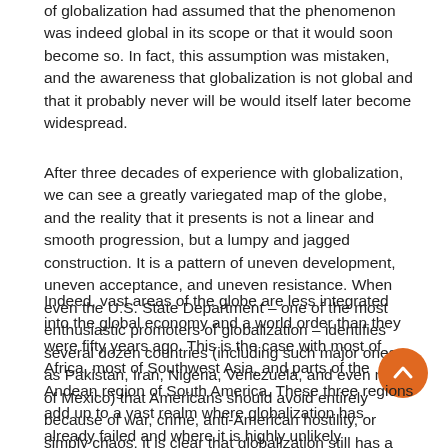of globalization had assumed that the phenomenon was indeed global in its scope or that it would soon become so. In fact, this assumption was mistaken, and the awareness that globalization is not global and that it probably never will be would itself later become widespread.
After three decades of experience with globalization, we can see a greatly variegated map of the globe, and the reality that it presents is not a linear and smooth progression, but a lumpy and jagged construction. It is a pattern of uneven development, uneven acceptance, and uneven resistance. When even the U.S. State Department – one of the most enthusiastic promoters of globalization – identifies several dozen countries (including such major ones as Pakistan, Iran, Nigeria, Venezuela, and even much of Mexico) that Americans should avoid entirely because of war, crime, anti-American hostility, or simply chaos, it is clear that globalization still has a great distance to travel.
Indeed, vast areas of the globe are less integrated into the global economy and a world order than they were fifty years ago. This is the case with most of Africa, most of Southwest Asia, and parts of the Andean region of South America. These three regions add up to a vast realm where globalization has already failed and where it is highly unlikely